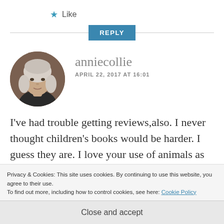★ Like
REPLY
[Figure (photo): Circular profile photo of an older woman with white/silver hair, wearing dark clothing, seated indoors.]
anniecollie
APRIL 22, 2017 AT 16:01
I've had trouble getting reviews,also. I never thought children's books would be harder. I guess they are. I love your use of animals as the voices
Privacy & Cookies: This site uses cookies. By continuing to use this website, you agree to their use.
To find out more, including how to control cookies, see here: Cookie Policy
Close and accept